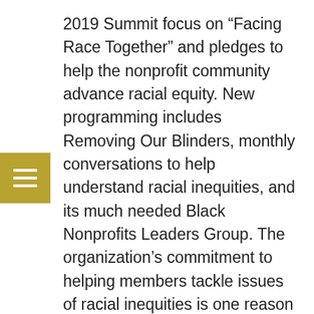2019 Summit focus on “Facing Race Together” and pledges to help the nonprofit community advance racial equity. New programming includes Removing Our Blinders, monthly conversations to help understand racial inequities, and its much needed Black Nonprofits Leaders Group. The organization’s commitment to helping members tackle issues of racial inequities is one reason leaders are stepping up for board service.
“As a native South Carolinian and a nonprofit leader of color who’s been working to build a community for over 20 years, I am excited about Together SC’s commitment and intentionality in supporting leaders of color,” said Sherrie Snipes-Williams. “Far more focus is placed on minorities as receivers of